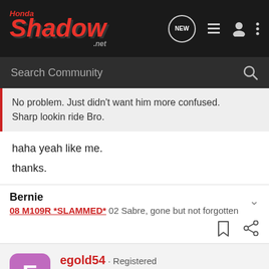[Figure (screenshot): HondaShadow.net site logo in red italic text on dark background, with navigation icons (NEW chat bubble, list, user, more) on the right]
[Figure (screenshot): Dark search bar with 'Search Community' placeholder text and magnifying glass icon]
No problem. Just didn't want him more confused. Sharp lookin ride Bro.
haha yeah like me.

thanks.
Bernie
08 M109R *SLAMMED* 02 Sabre, gone but not forgotten
[Figure (screenshot): Action icons: bookmark and share]
egold54 · Registered
Joined Jul 21, 2011 · 268 Posts